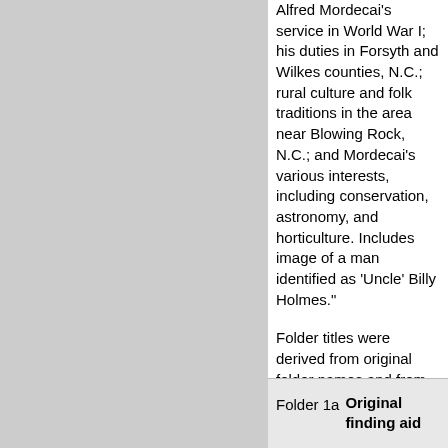Alfred Mordecai's service in World War I; his duties in Forsyth and Wilkes counties, N.C.; rural culture and folk traditions in the area near Blowing Rock, N.C.; and Mordecai's various interests, including conservation, astronomy, and horticulture. Includes image of a man identified as 'Uncle' Billy Holmes."
Folder titles were derived from original folder names and from descriptive metadata found within the files by the processing archivist.
| Folder | Title |
| --- | --- |
| Folder 1a | Original finding aid |